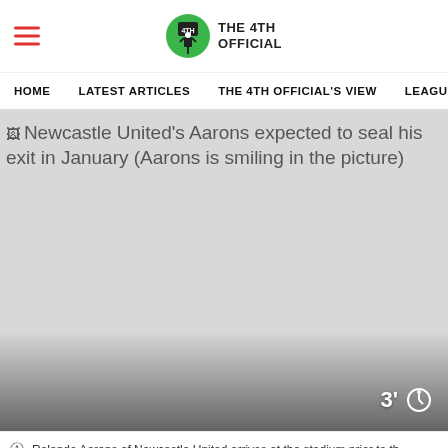THE 4TH OFFICIAL
HOME   LATEST ARTICLES   THE 4TH OFFICIAL'S VIEW   LEAGU
[Figure (photo): Newcastle United's Aarons expected to seal his exit in January (Aarons is smiling in the picture). Large gray placeholder image with timer overlay showing 3 minutes.]
Rolando Aarons of Newcastle United arrives at the stadium prior to th